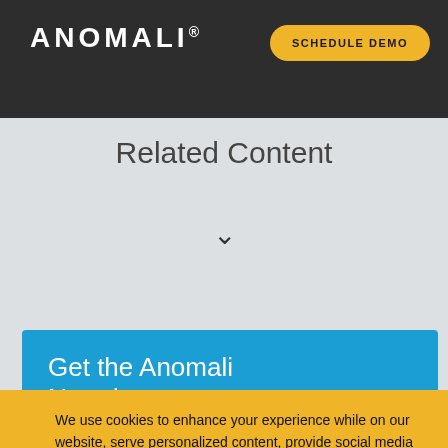ANOMALI®
SCHEDULE DEMO
Related Content
Get the Anomali Newsletter
We use cookies to enhance your experience while on our website, serve personalized content, provide social media features and to optimize our traffic. By continuing to browse the site you are agreeing to our use of cookies. Find out more here.
Accept